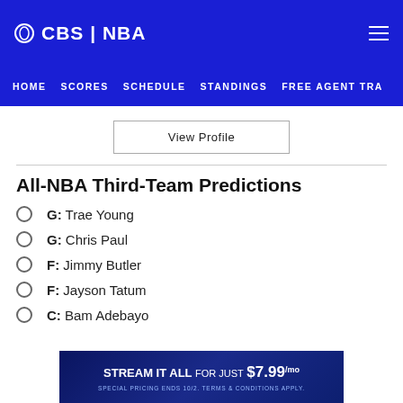CBS | NBA  HOME  SCORES  SCHEDULE  STANDINGS  FREE AGENT TRA
View Profile
All-NBA Third-Team Predictions
G: Trae Young
G: Chris Paul
F: Jimmy Butler
F: Jayson Tatum
C: Bam Adebayo
[Figure (other): Advertisement banner: STREAM IT ALL FOR JUST $7.99/mo. Special pricing ends 10/2. Terms & conditions apply.]